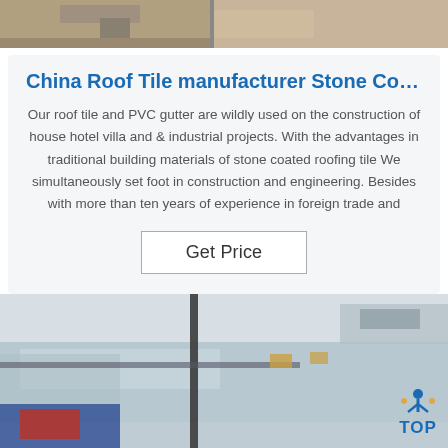[Figure (photo): Partial top photo of roofing materials or construction components, cropped at top of page]
China Roof Tile manufacturer Stone Co…
Our roof tile and PVC gutter are wildly used on the construction of house hotel villa and & industrial projects. With the advantages in traditional building materials of stone coated roofing tile We simultaneously set foot in construction and engineering. Besides with more than ten years of experience in foreign trade and
Get Price
[Figure (photo): Factory floor photo showing workers handling large metal or aluminum sheets on industrial machinery, with a blue TOP badge/logo in the bottom right corner]